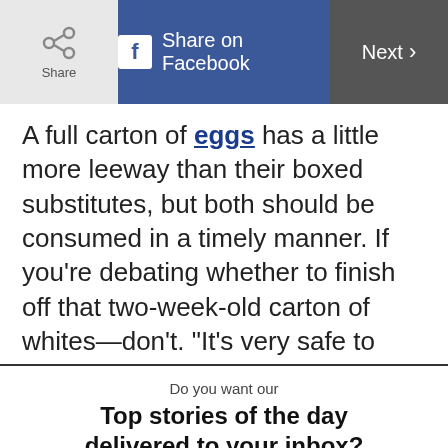Share | Share on Facebook | Next
A full carton of eggs has a little more leeway than their boxed substitutes, but both should be consumed in a timely manner. If you're debating whether to finish off that two-week-old carton of whites—don't. "It's very safe to keep eggs in the refrigerator for three to five weeks if they're raw and in the shell. For egg substitute products you
Do you want our
Top stories of the day delivered to your inbox?
YES PLEASE!
NO THANKS